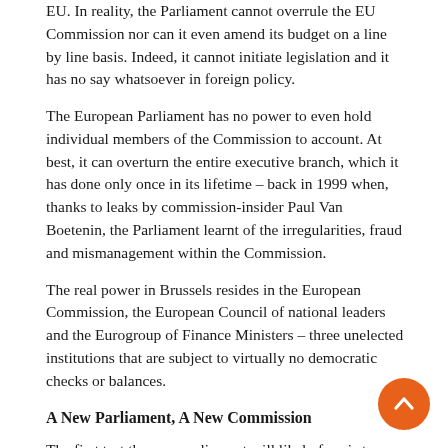EU. In reality, the Parliament cannot overrule the EU Commission nor can it even amend its budget on a line by line basis. Indeed, it cannot initiate legislation and it has no say whatsoever in foreign policy.
The European Parliament has no power to even hold individual members of the Commission to account. At best, it can overturn the entire executive branch, which it has done only once in its lifetime – back in 1999 when, thanks to leaks by commission-insider Paul Van Boetenin, the Parliament learnt of the irregularities, fraud and mismanagement within the Commission.
The real power in Brussels resides in the European Commission, the European Council of national leaders and the Eurogroup of Finance Ministers – three unelected institutions that are subject to virtually no democratic checks or balances.
A New Parliament, A New Commission
The first test the new parliament will likely face is to select the president of the European Commission. The EU's executive body will for the first time be chosen under the provisions of the 2009 Lisbon Treaty, which states that the European Council of EU leaders nominates the candidate